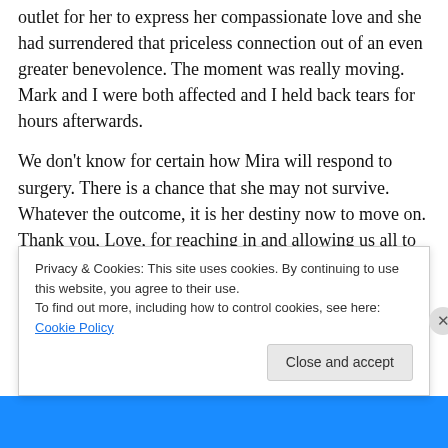outlet for her to express her compassionate love and she had surrendered that priceless connection out of an even greater benevolence. The moment was really moving. Mark and I were both affected and I held back tears for hours afterwards.
We don't know for certain how Mira will respond to surgery. There is a chance that she may not survive. Whatever the outcome, it is her destiny now to move on. Thank you, Love, for reaching in and allowing us all to participate in something so beautiful. Just so you know, the seeds of care that you planted here have indeed taken
Privacy & Cookies: This site uses cookies. By continuing to use this website, you agree to their use. To find out more, including how to control cookies, see here: Cookie Policy
Close and accept